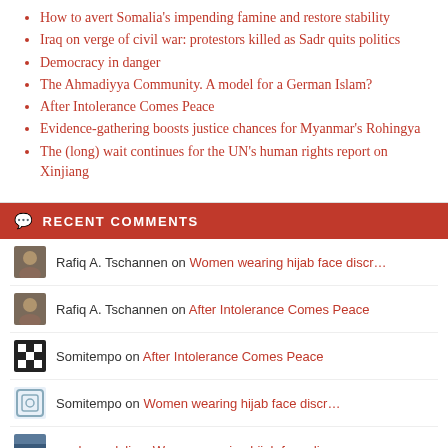How to avert Somalia's impending famine and restore stability
Iraq on verge of civil war: protestors killed as Sadr quits politics
Democracy in danger
The Ahmadiyya Community. A model for a German Islam?
After Intolerance Comes Peace
Evidence-gathering boosts justice chances for Myanmar's Rohingya
The (long) wait continues for the UN's human rights report on Xinjiang
RECENT COMMENTS
Rafiq A. Tschannen on Women wearing hijab face discr…
Rafiq A. Tschannen on After Intolerance Comes Peace
Somitempo on After Intolerance Comes Peace
Somitempo on Women wearing hijab face discr…
rmohamedali on Women wearing hijab face discr…